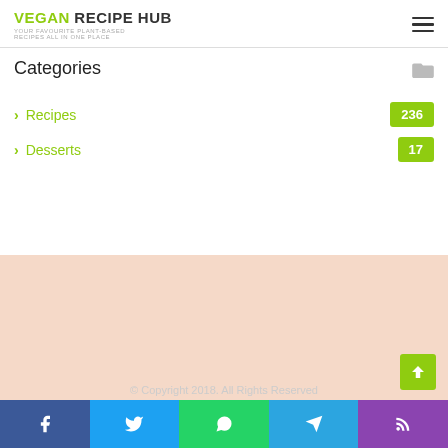VEGAN RECIPE HUB — Your favourite plant-based recipes all in one place
Categories
Recipes 236
Desserts 17
© Copyright 2018. All Rights Reserved